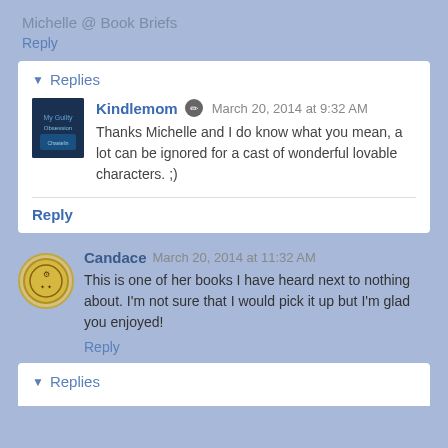Michelle @ Book Briefs
Reply
▼ Replies
Kindlemom   March 20, 2014 at 9:32 AM
Thanks Michelle and I do know what you mean, a lot can be ignored for a cast of wonderful lovable characters. ;)
Reply
Candace   March 20, 2014 at 11:32 AM
This is one of her books I have heard next to nothing about. I'm not sure that I would pick it up but I'm glad you enjoyed!
Reply
▼ Replies